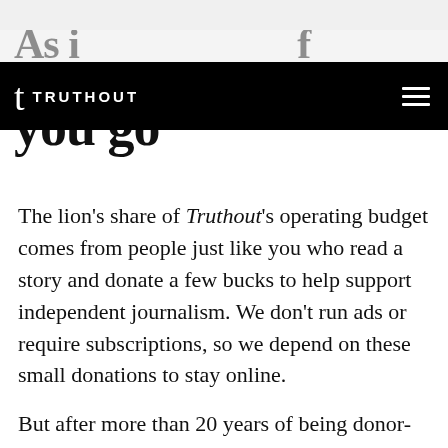TRUTHOUT
you go
The lion's share of Truthout's operating budget comes from people just like you who read a story and donate a few bucks to help support independent journalism. We don't run ads or require subscriptions, so we depend on these small donations to stay online.
But after more than 20 years of being donor-